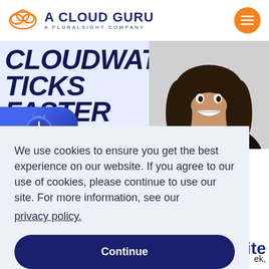A CLOUD GURU — A PLURALSIGHT COMPANY
[Figure (screenshot): Hero banner image with bold italic text 'CLOUDWATCH TICKS FASTER' in dark blue, a clock/ribbon graphic on the left, and a smiling person with long dark hair on the right.]
We use cookies to ensure you get the best experience on our website. If you agree to our use of cookies, please continue to use our site. For more information, see our privacy policy.
Continue
AWS has raised the ceiling on capturing metrics, AWS